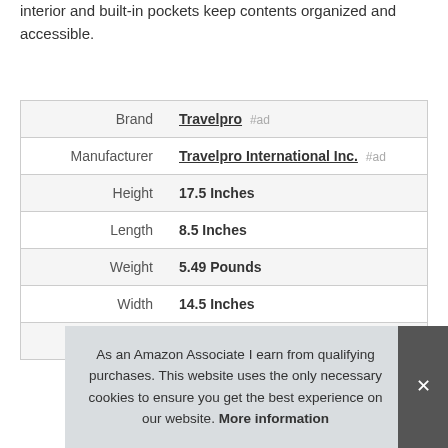interior and built-in pockets keep contents organized and accessible.
| Attribute | Value |
| --- | --- |
| Brand | Travelpro #ad |
| Manufacturer | Travelpro International Inc. #ad |
| Height | 17.5 Inches |
| Length | 8.5 Inches |
| Weight | 5.49 Pounds |
| Width | 14.5 Inches |
| Part Number | 401177727 |
As an Amazon Associate I earn from qualifying purchases. This website uses the only necessary cookies to ensure you get the best experience on our website. More information